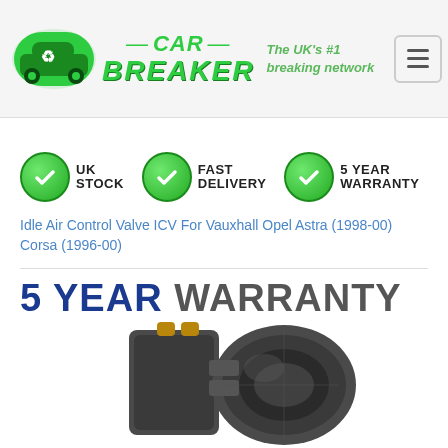[Figure (logo): Car Breaker logo with green recycling car icon, green italic CAR BREAKER text, tagline 'The UK's #1 breaking network']
[Figure (infographic): Three green checkmark badge icons with labels: UK STOCK, FAST DELIVERY, 5 YEAR WARRANTY]
Idle Air Control Valve ICV For Vauxhall Opel Astra (1998-00) Corsa (1996-00)
[Figure (infographic): 5 YEAR WARRANTY text banner in dark blue and grey]
[Figure (photo): Photo of an Idle Air Control Valve / ICV automotive part, dark grey plastic component]